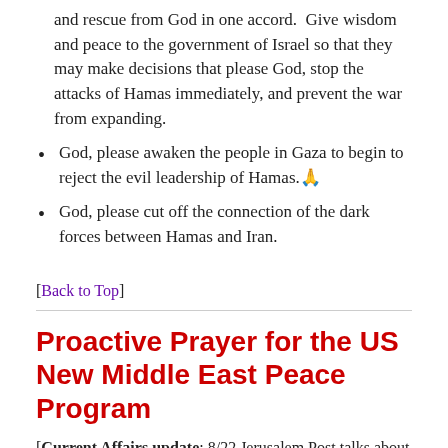and rescue from God in one accord.  Give wisdom and peace to the government of Israel so that they may make decisions that please God, stop the attacks of Hamas immediately, and prevent the war from expanding.
God, please awaken the people in Gaza to begin to reject the evil leadership of Hamas.🙏
God, please cut off the connection of the dark forces between Hamas and Iran.
[Back to Top]
Proactive Prayer for the US New Middle East Peace Program
[Current Affairs update: 8/22 Jerusalem Post talks about